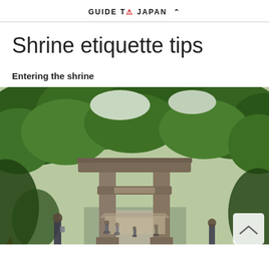GUIDE TO JAPAN ^
Shrine etiquette tips
Entering the shrine
[Figure (photo): A large wooden torii gate at a Japanese shrine, surrounded by lush green trees. People are walking along the path beneath the gate. The path leads deeper into the forested shrine grounds.]